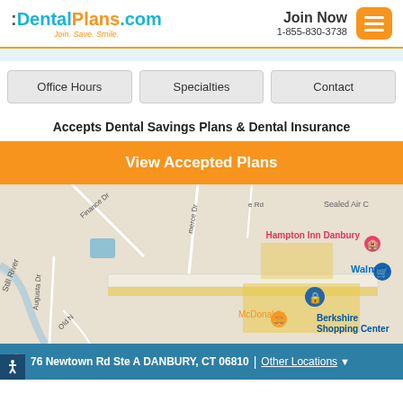:DentalPlans.com Join. Save. Smile. | Join Now 1-855-830-3738
Office Hours | Specialties | Contact
Accepts Dental Savings Plans & Dental Insurance
View Accepted Plans
[Figure (map): Google Maps view showing area near 76 Newtown Rd, Danbury CT. Landmarks visible: Hampton Inn Danbury, Walmart, McDonald's, Berkshire Shopping Center, Sealed Air C., Still River, Finance Dr, Augusta Dr, Old N.]
76 Newtown Rd Ste A DANBURY, CT 06810 | Other Locations ▼